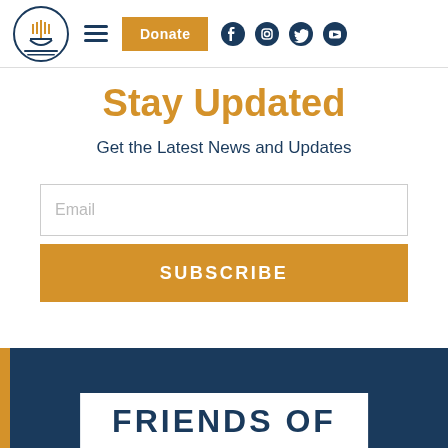[Figure (logo): Organization logo with menorah/building icon and text in a circular emblem, blue and gold colors]
Stay Updated
Get the Latest News and Updates
Email
SUBSCRIBE
FRIENDS OF